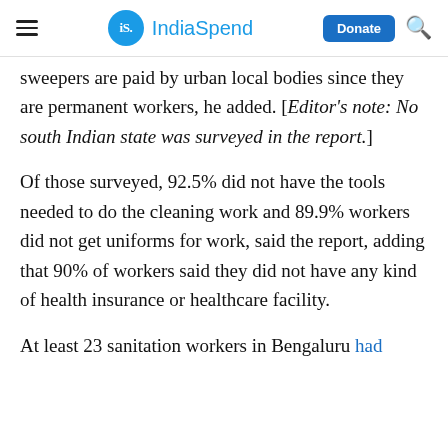IndiaSpend
sweepers are paid by urban local bodies since they are permanent workers, he added. [Editor's note: No south Indian state was surveyed in the report.]
Of those surveyed, 92.5% did not have the tools needed to do the cleaning work and 89.9% workers did not get uniforms for work, said the report, adding that 90% of workers said they did not have any kind of health insurance or healthcare facility.
At least 23 sanitation workers in Bengaluru had